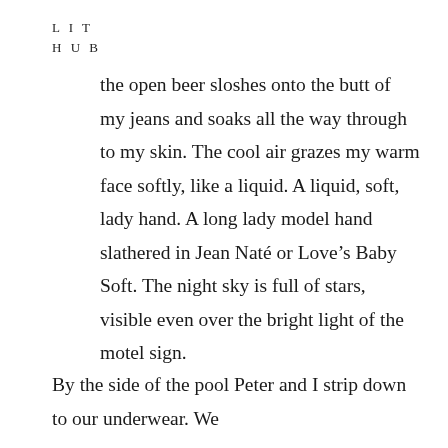L I T
H U B
the open beer sloshes onto the butt of my jeans and soaks all the way through to my skin. The cool air grazes my warm face softly, like a liquid. A liquid, soft, lady hand. A long lady model hand slathered in Jean Naté or Love's Baby Soft. The night sky is full of stars, visible even over the bright light of the motel sign.
By the side of the pool Peter and I strip down to our underwear. We